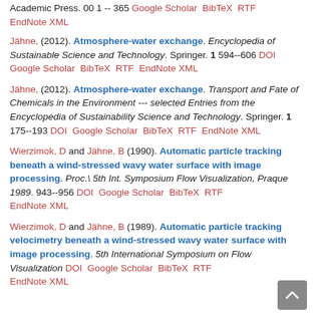Academic Press. 00 1 -- 365 Google Scholar BibTeX RTF EndNote XML
Jähne, (2012). Atmosphere-water exchange. Encyclopedia of Sustainable Science and Technology. Springer. 1 594--606 DOI Google Scholar BibTeX RTF EndNote XML
Jähne, (2012). Atmosphere-water exchange. Transport and Fate of Chemicals in the Environment --- selected Entries from the Encyclopedia of Sustainability Science and Technology. Springer. 1 175--193 DOI Google Scholar BibTeX RTF EndNote XML
Wierzimok, D and Jähne, B (1990). Automatic particle tracking beneath a wind-stressed wavy water surface with image processing. Proc.\ 5th Int. Symposium Flow Visualization, Praque 1989. 943--956 DOI Google Scholar BibTeX RTF EndNote XML
Wierzimok, D and Jähne, B (1989). Automatic particle tracking velocimetry beneath a wind-stressed wavy water surface with image processing. 5th International Symposium on Flow Visualization DOI Google Scholar BibTeX RTF EndNote XML